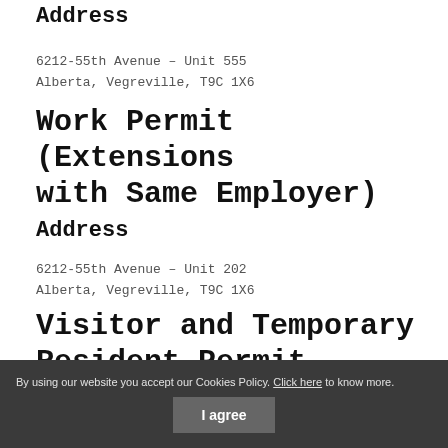Address
6212-55th Avenue – Unit 555
Alberta, Vegreville, T9C 1X6
Work Permit (Extensions with Same Employer)
Address
6212-55th Avenue – Unit 202
Alberta, Vegreville, T9C 1X6
Visitor and Temporary Resident Permit
Address
6212-55th Avenue – Unit 303